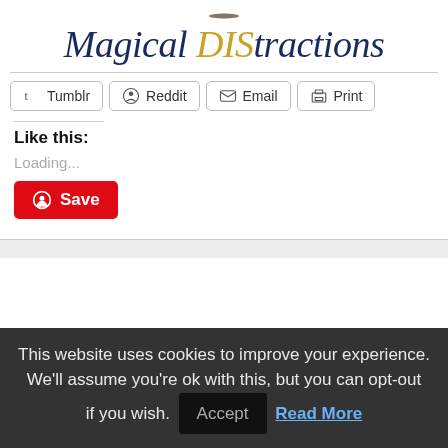Magical DIStractions
Tumblr
Reddit
Email
Print
Like this:
Loading...
Save
This website uses cookies to improve your experience. We'll assume you're ok with this, but you can opt-out if you wish. Accept Read More